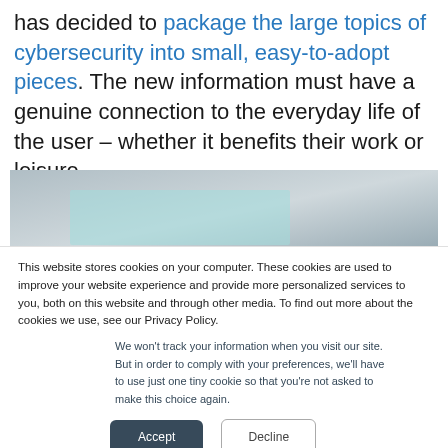has decided to package the large topics of cybersecurity into small, easy-to-adopt pieces. The new information must have a genuine connection to the everyday life of the user – whether it benefits their work or leisure.
[Figure (photo): Partial photo strip showing a blurred/cropped image with a teal/light blue horizontal band, partially overlaid by a cookie consent banner.]
This website stores cookies on your computer. These cookies are used to improve your website experience and provide more personalized services to you, both on this website and through other media. To find out more about the cookies we use, see our Privacy Policy.
We won't track your information when you visit our site. But in order to comply with your preferences, we'll have to use just one tiny cookie so that you're not asked to make this choice again.